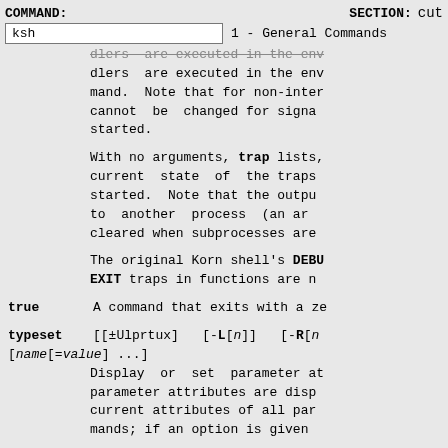COMMAND: ksh   SECTION: 1 - General Commands   cute
dlers  are executed in the env mand.  Note that for non-inter cannot  be  changed for signa started.
With no arguments, trap lists, current  state  of  the traps started.  Note that the outpu to  another  process  (an ar cleared when subprocesses are
The original Korn shell's DEBU EXIT traps in functions are n
true   A command that exits with a ze
typeset [[±Ulprtux]  [-L[n]]  [-R[n] [name[=value] ...]
   Display or set parameter at parameter attributes are disp current attributes of all par mands; if an option is given